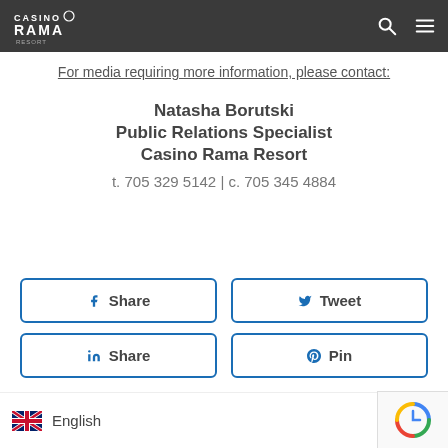Casino Rama
For media requiring more information, please contact:
Natasha Borutski
Public Relations Specialist
Casino Rama Resort
t. 705 329 5142 | c. 705 345 4884
[Figure (infographic): Social sharing buttons: Facebook Share, Twitter Tweet, LinkedIn Share, Pinterest Pin]
English